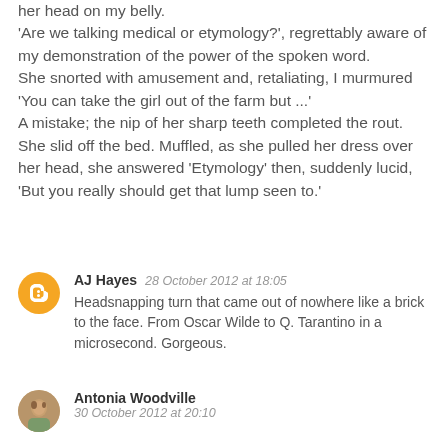her head on my belly.
'Are we talking medical or etymology?', regrettably aware of my demonstration of the power of the spoken word.
She snorted with amusement and, retaliating, I murmured 'You can take the girl out of the farm but ...'
A mistake; the nip of her sharp teeth completed the rout.
She slid off the bed. Muffled, as she pulled her dress over her head, she answered 'Etymology' then, suddenly lucid, 'But you really should get that lump seen to.'
AJ Hayes  28 October 2012 at 18:05
Headsnapping turn that came out of nowhere like a brick to the face. From Oscar Wilde to Q. Tarantino in a microsecond. Gorgeous.
Antonia Woodville
30 October 2012 at 20:10